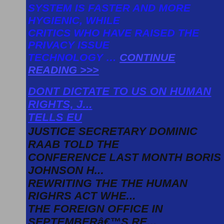SYSTEM IS FASTER AND MORE HYGIENIC, WHILE CRITICS WHO HAVE RAISED THE PRIVACY ISSUE TECHNOLOGY … Continue reading >>>
Dont Dictate To Us On Human Rights, J... Tells EU
Justice Secretary Dominic Raab told the Conference last month Boris Johnson has rewriting the The Human Righrs Act where the Foreign Office in September's re... Raab revealed details on how he plans to from Strasbourg in British matters as p...
Globalist Elites Now Pushing For Lock... Climate Change
Elite globalists are now proposing that...